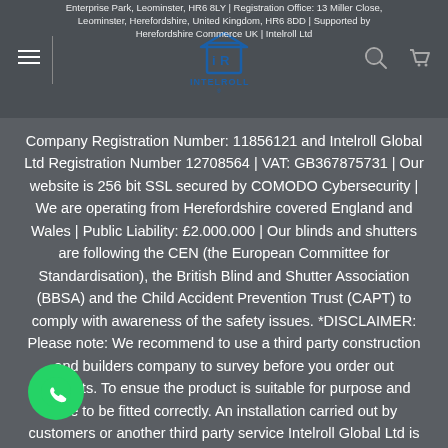Enterprise Park, Leominster, HR6 8LY | Registration Office: 13 Miller Close, Leominster, Herefordshire, United Kingdom, HR6 8DD | Supported by Herefordshire Commerce UK | Intelroll Ltd Company Registration Number: 11856121 and Intelroll Global Ltd Registration Number 12708564 | VAT: GB367875731
[Figure (logo): Intelroll logo - stylized IR house icon with INTELROLL text below]
Company Registration Number: 11856121 and Intelroll Global Ltd Registration Number 12708564 | VAT: GB367875731 | Our website is 256 bit SSL secured by COMODO Cybersecurity | We are operating from Herefordshire covered England and Wales | Public Liability: £2.000.000 | Our blinds and shutters are following the CEN (the European Committee for Standardisation), the British Blind and Shutter Association (BBSA) and the Child Accident Prevention Trust (CAPT) to comply with awareness of the safety issues. *DISCLAIMER: Please note: We recommend to use a third party construction and builders company to survey before you order out products. To ensue the product is suitable for purpose and able to be fitted correctly. An installation carried out by customers or another third party service Intelroll Global Ltd is therefore not liable for loss or damages that may occur. Intelroll holds guarantee for the products only. Website designed by Quantina & UnixAccounting